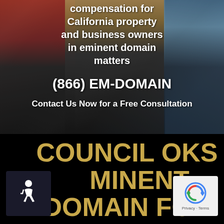[Figure (photo): Background photo of suited businesspeople shaking hands or standing together, with ties visible (red/maroon on left, blue on right), golden/tan center, dark suit in middle]
compensation for California property and business owners in eminent domain matters
(866) EM-DOMAIN
Contact Us Now for a Free Consultation
COUNCIL OKS EMINENT DOMAIN FOR
[Figure (logo): Accessibility icon (wheelchair symbol) on dark background]
[Figure (logo): reCAPTCHA badge with Privacy and Terms text]